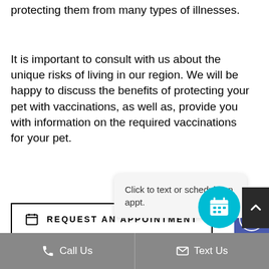protecting them from many types of illnesses.
It is important to consult with us about the unique risks of living in our region. We will be happy to discuss the benefits of protecting your pet with vaccinations, as well as, provide you with information on the required vaccinations for your pet.
REQUEST AN APPOINTMENT
[Figure (other): Accessibility icon button (blue/purple background with wheelchair accessibility symbol)]
Click to text or schedule an appt.
[Figure (other): Cyan circular button with calendar/schedule icon]
[Figure (other): Dark scroll-to-top button with upward chevron]
Call Us   Text Us